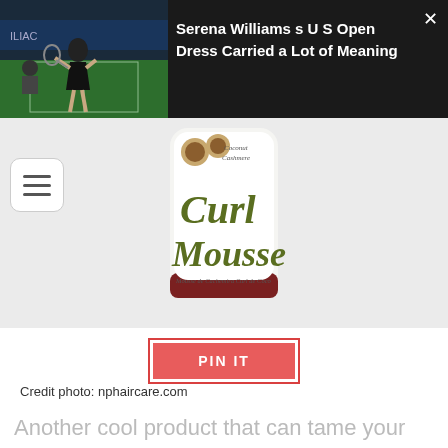[Figure (photo): Black top bar showing a tennis player (Serena Williams) on left and article title on right with close button]
Serena Williams s U S Open Dress Carried a Lot of Meaning
[Figure (photo): Curl Mousse hair product bottle on grey background with hamburger menu icon on the left]
PIN IT
Credit photo: nphaircare.com
Another cool product that can tame your 2a hair